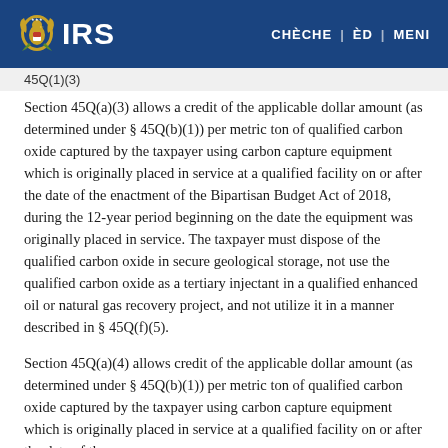IRS | CHÈCHE | ÈD | MENI
45Q(1)(3)
Section 45Q(a)(3) allows a credit of the applicable dollar amount (as determined under § 45Q(b)(1)) per metric ton of qualified carbon oxide captured by the taxpayer using carbon capture equipment which is originally placed in service at a qualified facility on or after the date of the enactment of the Bipartisan Budget Act of 2018, during the 12-year period beginning on the date the equipment was originally placed in service. The taxpayer must dispose of the qualified carbon oxide in secure geological storage, not use the qualified carbon oxide as a tertiary injectant in a qualified enhanced oil or natural gas recovery project, and not utilize it in a manner described in § 45Q(f)(5).
Section 45Q(a)(4) allows credit of the applicable dollar amount (as determined under § 45Q(b)(1)) per metric ton of qualified carbon oxide captured by the taxpayer using carbon capture equipment which is originally placed in service at a qualified facility on or after the date of the